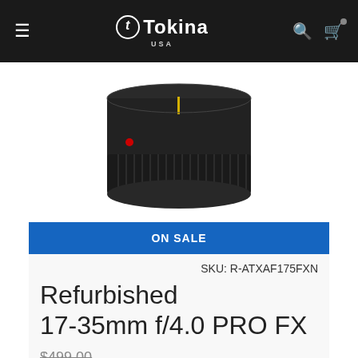Tokina USA
[Figure (photo): Bottom portion of a Tokina camera lens showing the lens mount end with ribbed focus ring, red dot and yellow line alignment markers, on white background]
ON SALE
SKU: R-ATXAF175FXN
Refurbished 17-35mm f/4.0 PRO FX
$499.00